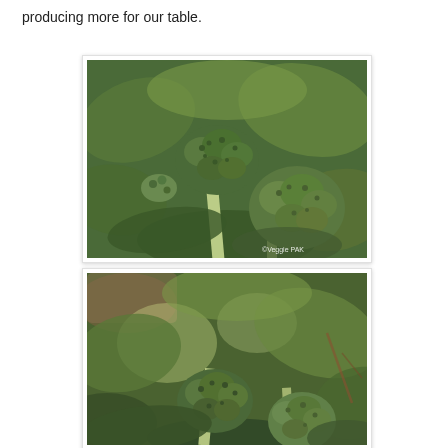producing more for our table.
[Figure (photo): Close-up photograph of broccoli plants growing in a garden, showing mature green broccoli heads and leaves. Watermark: ©Veggie PAK]
[Figure (photo): Close-up photograph of broccoli plants growing in a garden, showing broccoli heads among large green leaves with sunlight filtering through.]